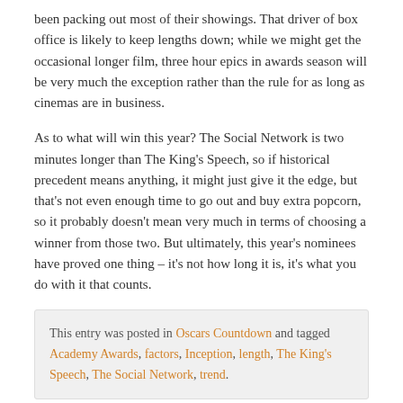been packing out most of their showings. That driver of box office is likely to keep lengths down; while we might get the occasional longer film, three hour epics in awards season will be very much the exception rather than the rule for as long as cinemas are in business.
As to what will win this year? The Social Network is two minutes longer than The King's Speech, so if historical precedent means anything, it might just give it the edge, but that's not even enough time to go out and buy extra popcorn, so it probably doesn't mean very much in terms of choosing a winner from those two. But ultimately, this year's nominees have proved one thing – it's not how long it is, it's what you do with it that counts.
This entry was posted in Oscars Countdown and tagged Academy Awards, factors, Inception, length, The King's Speech, The Social Network, trend.
Review Of The Year 2010: The Half Dozen Best Trailers of 2010
POSTED ON DECEMBER 19, 2010